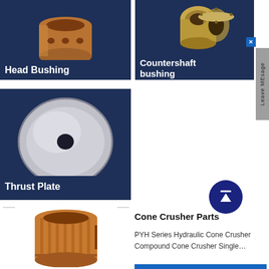[Figure (photo): Head Bushing — copper/bronze cylindrical bushing component on dark blue background with bold white label 'Head Bushing']
[Figure (photo): Countershaft bushing — two metal bushing parts on dark blue background with bold white label 'Countershaft bushing']
[Figure (photo): Thrust Plate — silver/metallic disc plate on dark blue background with bold white label 'Thrust Plate']
[Figure (photo): Copper/bronze cylindrical bushing part (bottom left, no label card)]
Cone Crusher Parts
PYH Series Hydraulic Cone Crusher Compound Cone Crusher Single…